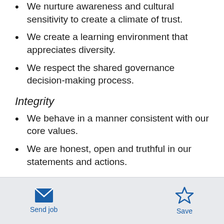We nurture awareness and cultural sensitivity to create a climate of trust.
We create a learning environment that appreciates diversity.
We respect the shared governance decision-making process.
Integrity
We behave in a manner consistent with our core values.
We are honest, open and truthful in our statements and actions.
Send job | Save